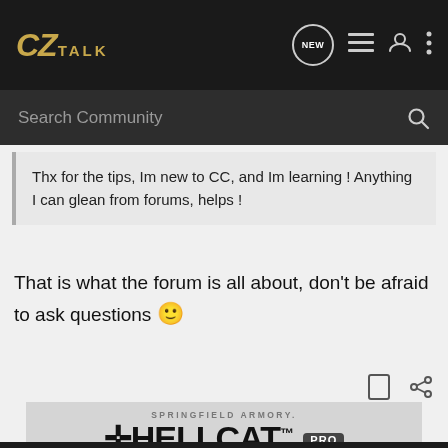CZtalk
Search Community
Thx for the tips, Im new to CC, and Im learning ! Anything I can glean from forums, helps !
That is what the forum is all about, don't be afraid to ask questions 🙂
[Figure (screenshot): Springfield Armory Hellcat Pro advertisement banner with gun image]
[Figure (screenshot): Mossberg Patriot Vortex Scoped Combo advertisement banner with Learn More button]